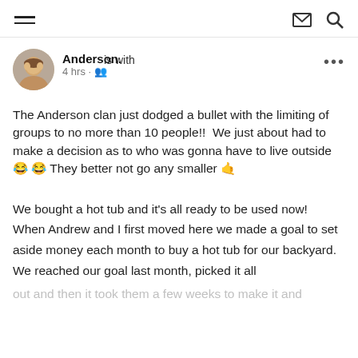Navigation bar with hamburger menu, mail icon, search icon
is with Anderson. 4 hrs · [people icon]
The Anderson clan just dodged a bullet with the limiting of groups to no more than 10 people!!  We just about had to make a decision as to who was gonna have to live outside 😂 😂 They better not go any smaller 🤙
We bought a hot tub and it's all ready to be used now!  When Andrew and I first moved here we made a goal to set aside money each month to buy a hot tub for our backyard.  We reached our goal last month, picked it all
out and then it took them a few weeks to make it and